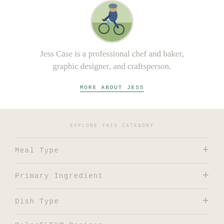[Figure (photo): Circular profile photo of Jess Case riding a bicycle, cropped at top]
Jess Case is a professional chef and baker, graphic designer, and craftsperson.
MORE ABOUT JESS
EXPLORE THIS CATEGORY
Meal Type
Primary Ingredient
Dish Type
PaleoFLEX™ Recipes